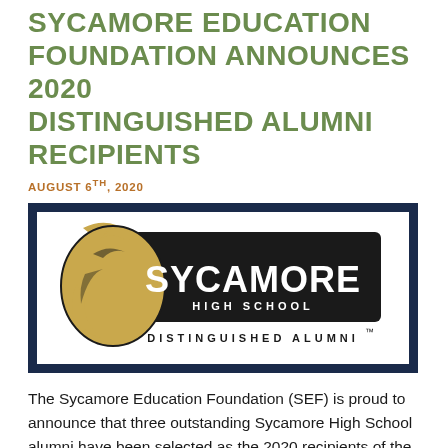SYCAMORE EDUCATION FOUNDATION ANNOUNCES 2020 DISTINGUISHED ALUMNI RECIPIENTS
AUGUST 6TH, 2020
[Figure (logo): Sycamore High School Distinguished Alumni logo featuring a Spartan helmet graphic alongside bold text reading SYCAMORE HIGH SCHOOL DISTINGUISHED ALUMNI with trademark symbol]
The Sycamore Education Foundation (SEF) is proud to announce that three outstanding Sycamore High School alumni have been selected as the 2020 recipients of the Distinguished Alumni Award. Since 2013, the